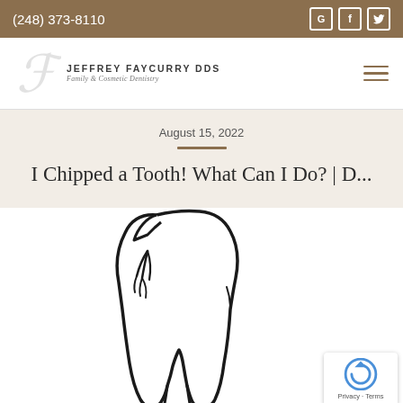(248) 373-8110
[Figure (logo): Jeffrey Faycurry DDS Family & Cosmetic Dentistry logo with decorative script F initial]
August 15, 2022
I Chipped a Tooth! What Can I Do? | D...
[Figure (illustration): Line drawing illustration of a chipped/cracked molar tooth showing crack lines on the upper left portion of the tooth]